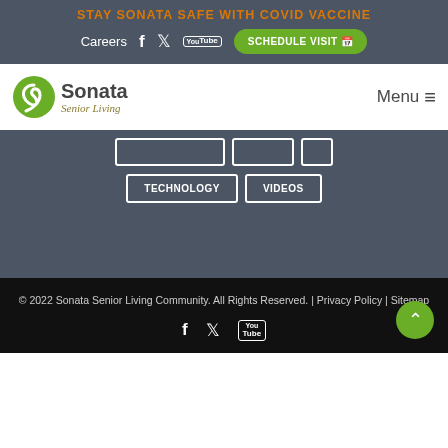STAY SONATA SAFE WITH COVID VACCINE
Careers | Schedule Visit
[Figure (logo): Sonata Senior Living logo with green swirl S icon and text]
Menu
TECHNOLOGY | VIDEOS
© 2022 Sonata Senior Living Community. All Rights Reserved. | Privacy Policy | Sitemap